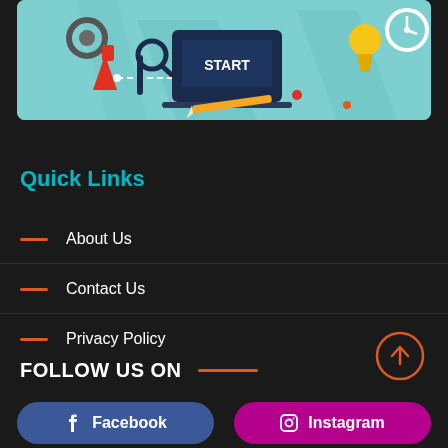[Figure (illustration): Colorful flat-design illustration on teal background showing digital startup concept with laptop showing START, gear, magnifying glass, lightbulb, pencil, and other icons]
Quick Links
About Us
Contact Us
Privacy Policy
FOLLOW US ON
Facebook
Instagram